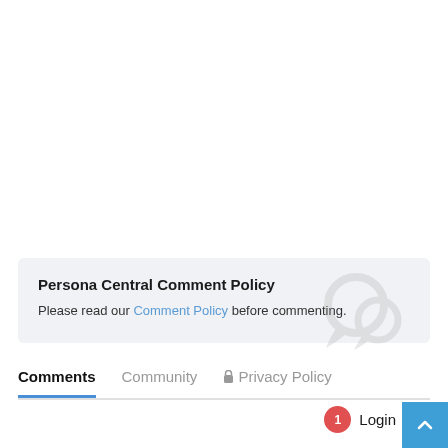Persona Central Comment Policy
Please read our Comment Policy before commenting.
Comments  Community  Privacy Policy  Login